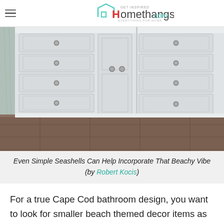Homethangs.com — GET INSPIRED — EVERYTHING FOR HOME
[Figure (photo): White bathroom vanity cabinets with silver knobs/pulls, marble on left side, dark tile floor]
Even Simple Seashells Can Help Incorporate That Beachy Vibe (by Robert Kocis)
For a true Cape Cod bathroom design, you want to look for smaller beach themed decor items as well. Seashells are a personal favorite because they're easy to incorporate, framed as artwork on the wall, displayed on a shelf, or even